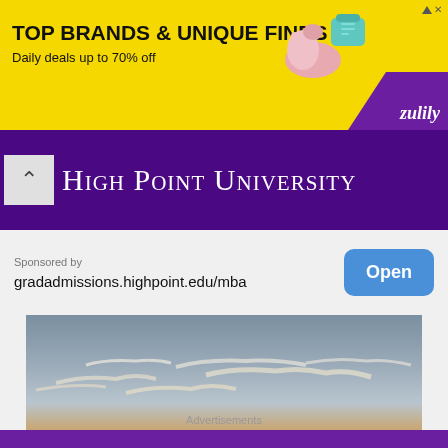[Figure (infographic): Zulily advertisement banner with yellow background: 'TOP BRANDS & UNIQUE FINDS, Daily deals up to 70% off' with shoe/purse images and Zulily branding]
[Figure (infographic): High Point University purple banner with small-caps white serif text logo]
Sponsored by
gradadmissions.highpoint.edu/mba
Open
[Figure (photo): Outdoor sunset photo showing a dramatic sky with wispy clouds lit by an orange/golden sunset, dark treeline silhouette at the bottom]
Advertisements